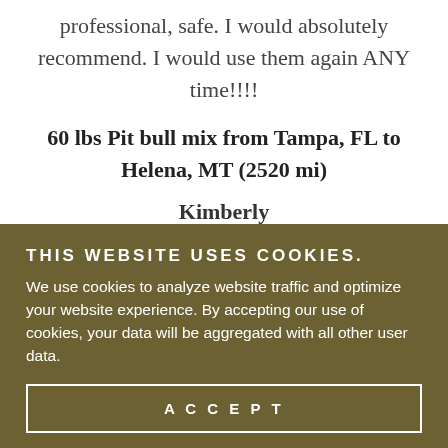professional, safe. I would absolutely recommend. I would use them again ANY time!!!!
60 lbs Pit bull mix from Tampa, FL to Helena, MT (2520 mi)
Kimberly
THIS WEBSITE USES COOKIES.
We use cookies to analyze website traffic and optimize your website experience. By accepting our use of cookies, your data will be aggregated with all other user data.
ACCEPT